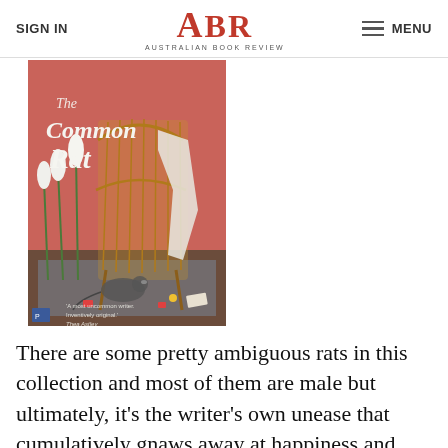SIGN IN | ABR Australian Book Review | MENU
[Figure (photo): Book cover of 'The Common Rat' showing an illustrated rattan chair with tulips, a rat, and scattered items on a colorful floor. Text at bottom: 'A most uncommon writer. Inventively original.' Thea Astley]
There are some pretty ambiguous rats in this collection and most of them are male but ultimately, it's the writer's own unease that cumulatively gnaws away at happiness and